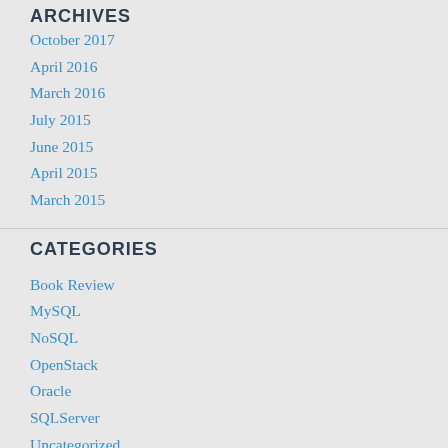ARCHIVES
October 2017
April 2016
March 2016
July 2015
June 2015
April 2015
March 2015
CATEGORIES
Book Review
MySQL
NoSQL
OpenStack
Oracle
SQLServer
Uncategorized
META